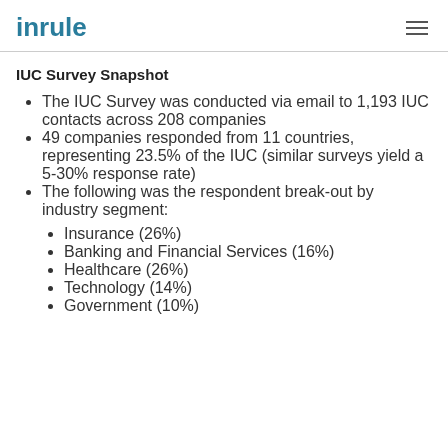inrule
IUC Survey Snapshot
The IUC Survey was conducted via email to 1,193 IUC contacts across 208 companies
49 companies responded from 11 countries, representing 23.5% of the IUC (similar surveys yield a 5-30% response rate)
The following was the respondent break-out by industry segment:
Insurance (26%)
Banking and Financial Services (16%)
Healthcare (26%)
Technology (14%)
Government (10%)